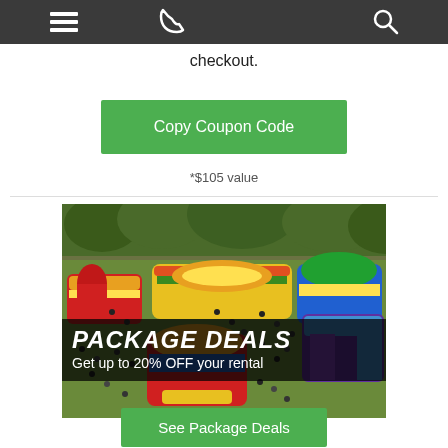[Navigation bar with menu, phone, and search icons]
checkout.
Copy Coupon Code
*$105 value
[Figure (photo): Aerial view of an outdoor event with multiple colorful inflatable bounce houses and slides on a green lawn, with many children and adults playing around them.]
PACKAGE DEALS
Get up to 20% OFF your rental
See Package Deals